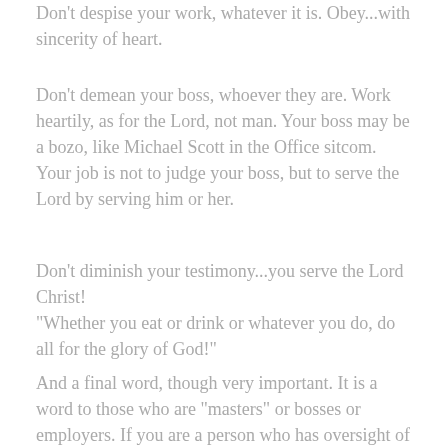Don't despise your work, whatever it is. Obey...with sincerity of heart.
Don't demean your boss, whoever they are. Work heartily, as for the Lord, not man. Your boss may be a bozo, like Michael Scott in the Office sitcom. Your job is not to judge your boss, but to serve the Lord by serving him or her.
Don't diminish your testimony...you serve the Lord Christ!
"Whether you eat or drink or whatever you do, do all for the glory of God!"
And a final word, though very important. It is a word to those who are "masters" or bosses or employers. If you are a person who has oversight of others...a business owner, or CEO, or supervisor or manager...there is also a word for you to those you are over as well.